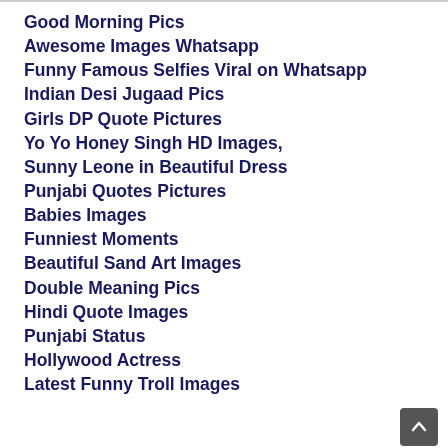Good Morning Pics
Awesome Images Whatsapp
Funny Famous Selfies Viral on Whatsapp
Indian Desi Jugaad Pics
Girls DP Quote Pictures
Yo Yo Honey Singh HD Images,
Sunny Leone in Beautiful Dress
Punjabi Quotes Pictures
Babies Images
Funniest Moments
Beautiful Sand Art Images
Double Meaning Pics
Hindi Quote Images
Punjabi Status
Hollywood Actress
Latest Funny Troll Images